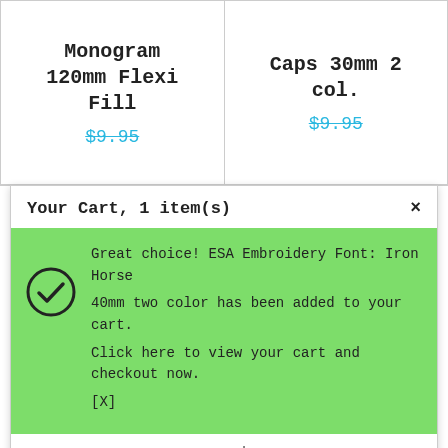Monogram 120mm Flexi Fill
$9.95
Caps 30mm 2 col.
$9.95
Your Cart, 1 item(s)
×
Great choice! ESA Embroidery Font: Iron Horse 40mm two color has been added to your cart. Click here to view your cart and checkout now. [X]
[Figure (illustration): Iron Horse embroidery font sample showing alphabet letters in orange and yellow decorative western style]
ESA $9.95 Embroidery Font: Iron Horse 40mm two color
[Figure (illustration): Special characters in blue decorative western font style]